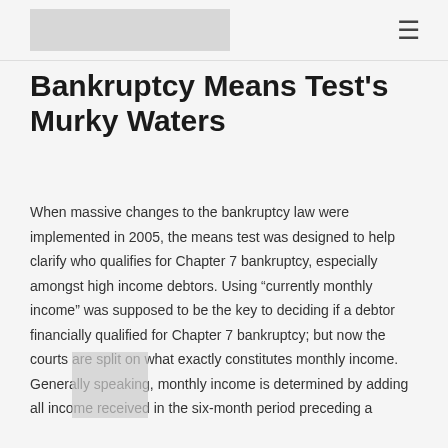[logo] [menu icon]
Bankruptcy Means Test’s Murky Waters
When massive changes to the bankruptcy law were implemented in 2005, the means test was designed to help clarify who qualifies for Chapter 7 bankruptcy, especially amongst high income debtors. Using “currently monthly income” was supposed to be the key to deciding if a debtor financially qualified for Chapter 7 bankruptcy; but now the courts are split on what exactly constitutes monthly income. Generally speaking, monthly income is determined by adding all income received in the six-month period preceding a